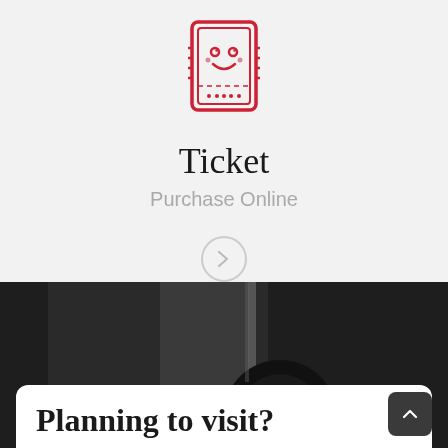[Figure (illustration): Red pixel-art style ticket icon with a cute face]
Ticket
Purchase Online
[Figure (illustration): Light gray circle with a right-pointing arrow inside]
[Figure (photo): Dark, moody photograph showing what appears to be a dark room with some objects, partially visible]
Planning to visit?